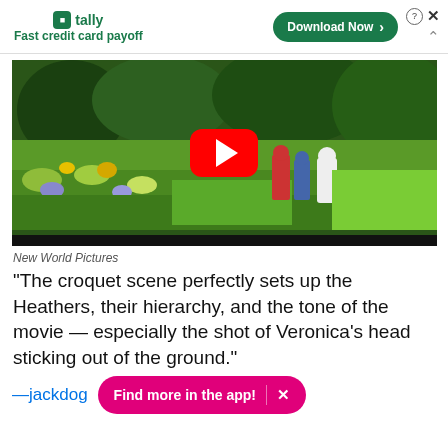[Figure (screenshot): Tally app advertisement banner with green logo, 'Fast credit card payoff' tagline, and 'Download Now' button]
[Figure (screenshot): YouTube video thumbnail showing a garden scene from the movie Heathers with a red YouTube play button overlay]
New World Pictures
"The croquet scene perfectly sets up the Heathers, their hierarchy, and the tone of the movie — especially the shot of Veronica's head sticking out of the ground."
—jackdog
Find more in the app!